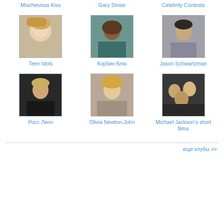Mischievous Kiss
Gary Sinise
Celebrity Contests
[Figure (photo): Teen Idols - blonde woman photo]
Teen Idols
[Figure (photo): Корбин Блю - young man with curly hair]
Корбин Блю
[Figure (photo): Jason Schwartzman - dark haired man]
Jason Schwartzman
[Figure (photo): Росс Линч - young man photo]
Росс Линч
[Figure (photo): Olivia Newton-John - blonde woman]
Olivia Newton-John
[Figure (photo): Michael Jackson's short films - group photo]
Michael Jackson's short films
еще клубы >>